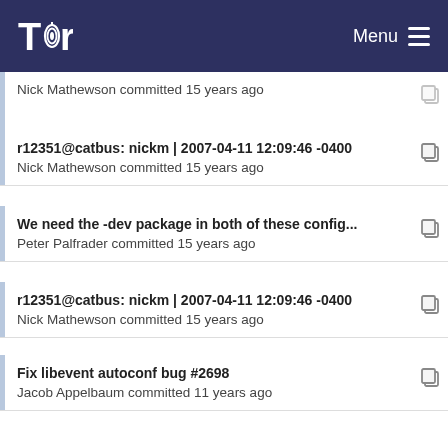Tor — Menu
Nick Mathewson committed 15 years ago
r12351@catbus: nickm | 2007-04-11 12:09:46 -0400
Nick Mathewson committed 15 years ago
We need the -dev package in both of these config...
Peter Palfrader committed 15 years ago
r12351@catbus: nickm | 2007-04-11 12:09:46 -0400
Nick Mathewson committed 15 years ago
Fix libevent autoconf bug #2698
Jacob Appelbaum committed 11 years ago
Quotes added on configure script's string compar...
zerosion committed 6 years ago